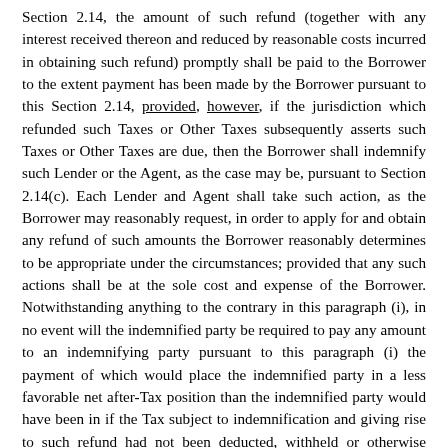Section 2.14, the amount of such refund (together with any interest received thereon and reduced by reasonable costs incurred in obtaining such refund) promptly shall be paid to the Borrower to the extent payment has been made by the Borrower pursuant to this Section 2.14, provided, however, if the jurisdiction which refunded such Taxes or Other Taxes subsequently asserts such Taxes or Other Taxes are due, then the Borrower shall indemnify such Lender or the Agent, as the case may be, pursuant to Section 2.14(c). Each Lender and Agent shall take such action, as the Borrower may reasonably request, in order to apply for and obtain any refund of such amounts the Borrower reasonably determines to be appropriate under the circumstances; provided that any such actions shall be at the sole cost and expense of the Borrower. Notwithstanding anything to the contrary in this paragraph (i), in no event will the indemnified party be required to pay any amount to an indemnifying party pursuant to this paragraph (i) the payment of which would place the indemnified party in a less favorable net after-Tax position than the indemnified party would have been in if the Tax subject to indemnification and giving rise to such refund had not been deducted, withheld or otherwise imposed and the indemnification payments or additional amounts with respect to such Tax had never been paid. Nothing in this Section 2.14(i) shall require any Lender to make available to the Borrower its tax